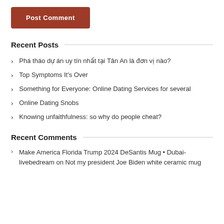Post Comment
Recent Posts
Phá tháo dự án uy tín nhất tại Tân An là đơn vị nào?
Top Symptoms It's Over
Something for Everyone: Online Dating Services for several
Online Dating Snobs
Knowing unfaithfulness: so why do people cheat?
Recent Comments
Make America Florida Trump 2024 DeSantis Mug • Dubai-livebedream on Not my president Joe Biden white ceramic mug